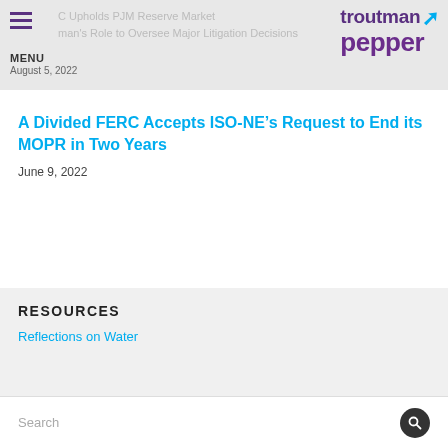FERC Upholds PJM Reserve Market / Chairman's Role to Oversee Major Litigation Decisions | MENU | August 5, 2022
[Figure (logo): Troutman Pepper law firm logo with purple and blue text]
A Divided FERC Accepts ISO-NE’s Request to End its MOPR in Two Years
June 9, 2022
RESOURCES
Reflections on Water
Search